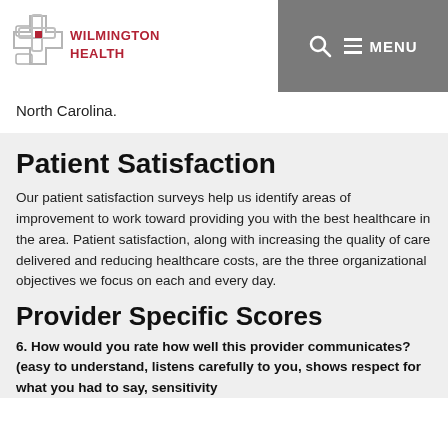[Figure (logo): Wilmington Health logo with cross symbol in gray and red, with text WILMINGTON HEALTH]
North Carolina.
Patient Satisfaction
Our patient satisfaction surveys help us identify areas of improvement to work toward providing you with the best healthcare in the area. Patient satisfaction, along with increasing the quality of care delivered and reducing healthcare costs, are the three organizational objectives we focus on each and every day.
Provider Specific Scores
6. How would you rate how well this provider communicates? (easy to understand, listens carefully to you, shows respect for what you had to say, sensitivity